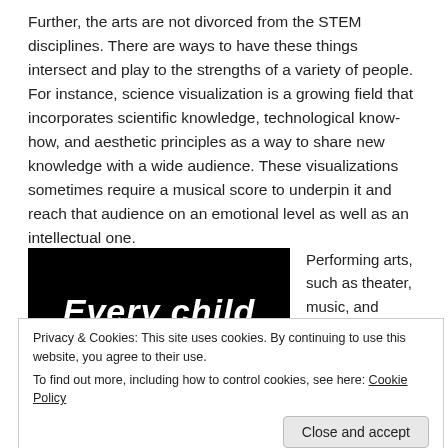Further, the arts are not divorced from the STEM disciplines. There are ways to have these things intersect and play to the strengths of a variety of people. For instance, science visualization is a growing field that incorporates scientific knowledge, technological know-how, and aesthetic principles as a way to share new knowledge with a wide audience. These visualizations sometimes require a musical score to underpin it and reach that audience on an emotional level as well as an intellectual one.
[Figure (photo): Black background image with white bold italic text reading 'Every child' (top portion visible) and 'an artist' (bottom portion visible)]
Performing arts, such as theater, music, and
Privacy & Cookies: This site uses cookies. By continuing to use this website, you agree to their use.
To find out more, including how to control cookies, see here: Cookie Policy
Close and accept
plays and musicals